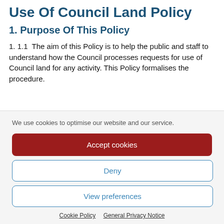Use Of Council Land Policy
1. Purpose Of This Policy
1. 1.1  The aim of this Policy is to help the public and staff to understand how the Council processes requests for use of Council land for any activity. This Policy formalises the procedure.
We use cookies to optimise our website and our service.
Accept cookies
Deny
View preferences
Cookie Policy   General Privacy Notice